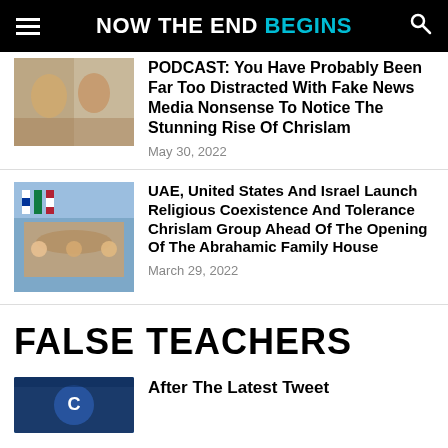NOW THE END BEGINS
PODCAST: You Have Probably Been Far Too Distracted With Fake News Media Nonsense To Notice The Stunning Rise Of Chrislam
May 30, 2022
UAE, United States And Israel Launch Religious Coexistence And Tolerance Chrislam Group Ahead Of The Opening Of The Abrahamic Family House
March 29, 2022
FALSE TEACHERS
After The Latest Tweet